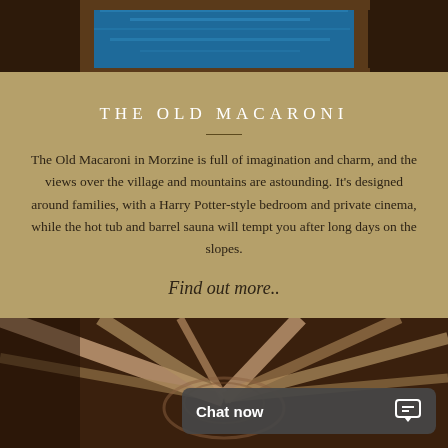[Figure (photo): Top portion of a hot tub with blue water on a wooden deck, partially visible]
THE OLD MACARONI
The Old Macaroni in Morzine is full of imagination and charm, and the views over the village and mountains are astounding. It's designed around families, with a Harry Potter-style bedroom and private cinema, while the hot tub and barrel sauna will tempt you after long days on the slopes.
Find out more..
[Figure (photo): Interior wooden cabin ceiling/staircase with rustic timber beams, viewed from below]